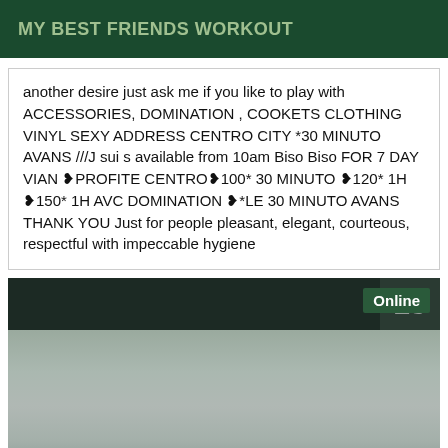MY BEST FRIENDS WORKOUT
another desire just ask me if you like to play with ACCESSORIES, DOMINATION , COOKETS CLOTHING VINYL SEXY ADDRESS CENTRO CITY *30 MINUTO AVANS ///J sui s available from 10am Biso Biso FOR 7 DAY VIAN ♥PROFITE CENTRO♥100* 30 MINUTO ♥120* 1H ♥150* 1H AVC DOMINATION ♥*LE 30 MINUTO AVANS THANK YOU Just for people pleasant, elegant, courteous, respectful with impeccable hygiene
[Figure (photo): Photo showing a carpeted floor area with a dark background/wall at the top. An 'Online' badge is shown in the top-right corner of the image. A partial number (appears to be 15 or similar) is visible on the right side.]